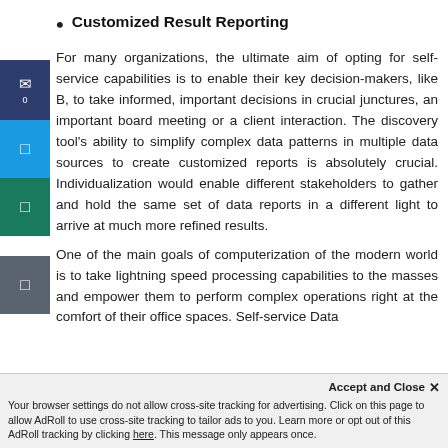Customized Result Reporting
For many organizations, the ultimate aim of opting for self-service capabilities is to enable their key decision-makers, like B, to take informed, important decisions in crucial junctures, an important board meeting or a client interaction. The discovery tool's ability to simplify complex data patterns in multiple data sources to create customized reports is absolutely crucial. Individualization would enable different stakeholders to gather and hold the same set of data reports in a different light to arrive at much more refined results.
One of the main goals of computerization of the modern world is to take lightning speed processing capabilities to the masses and empower them to perform complex operations right at the comfort of their office spaces. Self-service Data
Accept and Close ✕ Your browser settings do not allow cross-site tracking for advertising. Click on this page to allow AdRoll to use cross-site tracking to tailor ads to you. Learn more or opt out of this AdRoll tracking by clicking here. This message only appears once.